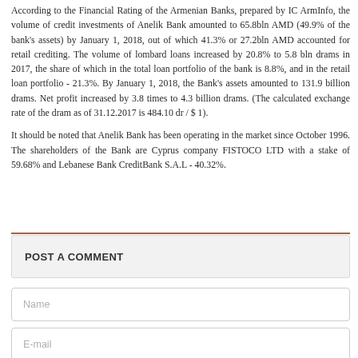According to the Financial Rating of the Armenian Banks, prepared by IC ArmInfo, the volume of credit investments of Anelik Bank amounted to 65.8bln AMD (49.9% of the bank's assets) by January 1, 2018, out of which 41.3% or 27.2bln AMD accounted for retail crediting. The volume of lombard loans increased by 20.8% to 5.8 bln drams in 2017, the share of which in the total loan portfolio of the bank is 8.8%, and in the retail loan portfolio - 21.3%. By January 1, 2018, the Bank's assets amounted to 131.9 billion drams. Net profit increased by 3.8 times to 4.3 billion drams. (The calculated exchange rate of the dram as of 31.12.2017 is 484.10 dr / $ 1).
It should be noted that Anelik Bank has been operating in the market since October 1996. The shareholders of the Bank are Cyprus company FISTOCO LTD with a stake of 59.68% and Lebanese Bank CreditBank S.A.L - 40.32%.
POST A COMMENT
Name
E-mail